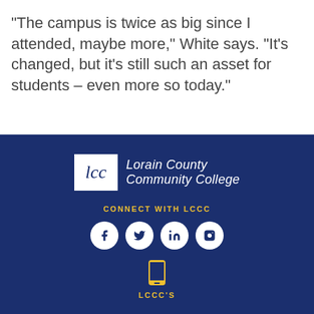“The campus is twice as big since I attended, maybe more,” White says. “It’s changed, but it’s still such an asset for students – even more so today.”
[Figure (logo): Lorain County Community College logo: white box with cursive 'lcc' script beside white italic text 'Lorain County Community College' on navy background]
CONNECT WITH LCCC
[Figure (infographic): Four social media icons in white circles: Facebook, Twitter, LinkedIn, Instagram]
[Figure (infographic): Mobile phone icon in gold/yellow]
LCCC'S